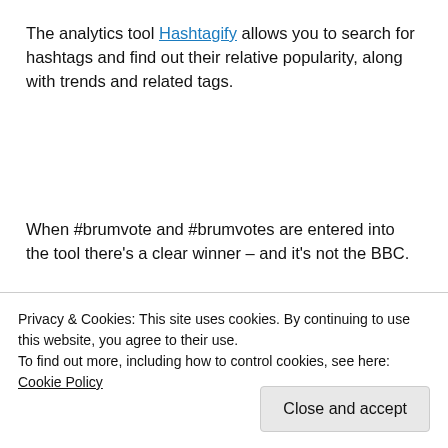The analytics tool Hashtagify allows you to search for hashtags and find out their relative popularity, along with trends and related tags.
When #brumvote and #brumvotes are entered into the tool there's a clear winner – and it's not the BBC.
[Figure (screenshot): Partial screenshot of a blue-background analytics tool interface with a red arc/circle graphic visible]
Privacy & Cookies: This site uses cookies. By continuing to use this website, you agree to their use.
To find out more, including how to control cookies, see here: Cookie Policy
Close and accept